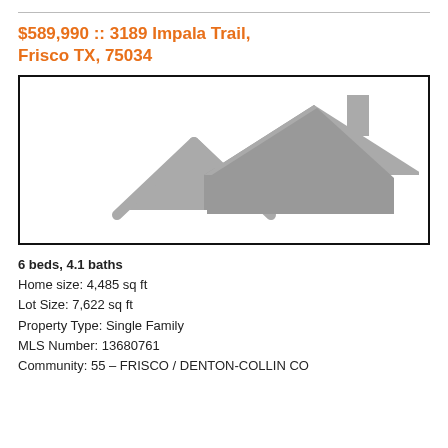$589,990 :: 3189 Impala Trail, Frisco TX, 75034
[Figure (illustration): Gray house rooftop silhouette icon inside a black bordered rectangle]
6 beds, 4.1 baths
Home size: 4,485 sq ft
Lot Size: 7,622 sq ft
Property Type: Single Family
MLS Number: 13680761
Community: 55 – FRISCO / DENTON-COLLIN CO